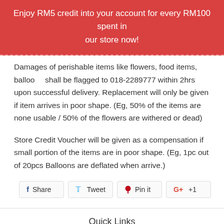Enjoy RM5 credit into your account for every RM100 spent in our store now!
Damages of perishable items like flowers, food items, balloons shall be flagged to 018-2289777 within 2hrs upon successful delivery. Replacement will only be given if item arrives in poor shape. (Eg, 50% of the items are none usable / 50% of the flowers are withered or dead)
Store Credit Voucher will be given as a compensation if small portion of the items are in poor shape. (Eg, 1pc out of 20pcs Balloons are deflated when arrive.)
[Figure (other): Social sharing buttons: Share (Facebook), Tweet (Twitter), Pin it (Pinterest), +1 (Google Plus)]
Quick Links